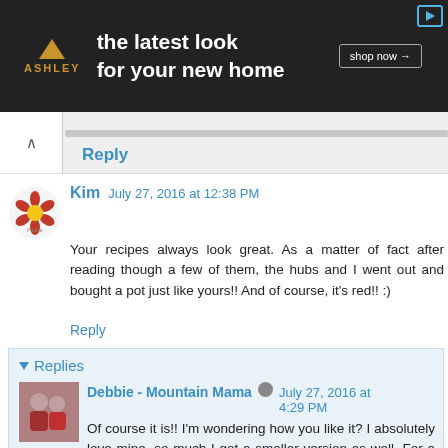[Figure (screenshot): Ashley Furniture advertisement banner: dark background, Ashley logo with triangle house icon, text 'the latest look for your new home', 'shop now' button]
Reply
Kim   July 27, 2016 at 12:38 PM
Your recipes always look great. As a matter of fact after reading though a few of them, the hubs and I went out and bought a pot just like yours!! And of course, it's red!! :)
Reply
▼ Replies
Debbie - Mountain Mama  July 27, 2016 at 4:29 PM
Of course it is!! I'm wondering how you like it? I absolutely love mine, so much I got a smaller version as well. For a sauce or soup it's my